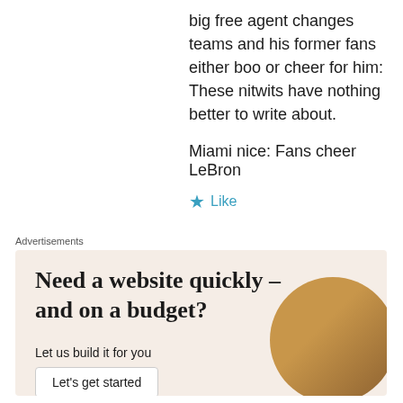big free agent changes teams and his former fans either boo or cheer for him: These nitwits have nothing better to write about.
Miami nice: Fans cheer LeBron
★ Like
Advertisements
[Figure (infographic): Advertisement banner with beige background. Headline: 'Need a website quickly – and on a budget?' Subtext: 'Let us build it for you'. Button: 'Let's get started'. Decorative circular photo of a person on the right side.]